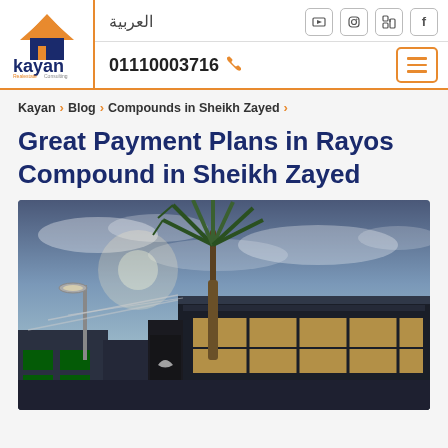[Figure (logo): Kayan Real Estate Consulting logo with orange house/roof icon and dark text]
العربية
Social media icons: YouTube, Instagram, LinkedIn, Facebook
01110003716
Kayan › Blog › Compounds in Sheikh Zayed ›
Great Payment Plans in Rayos Compound in Sheikh Zayed
[Figure (photo): Architectural rendering of Rayos Compound in Sheikh Zayed at dusk, showing a modern commercial/residential building with palm trees, street lights, and dramatic sky]